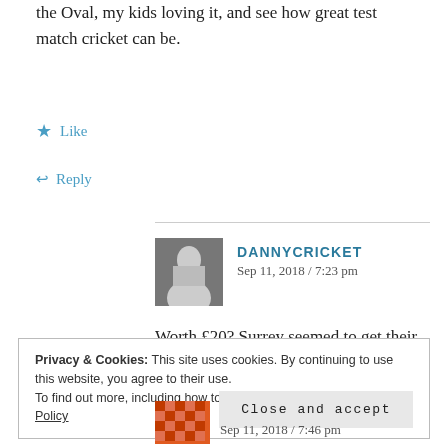the Oval, my kids loving it, and see how great test match cricket can be.
★ Like
↩ Reply
DANNYCRICKET
Sep 11, 2018 / 7:23 pm
Worth £20? Surrey seemed to get their money's worth from a flat pitch.
Privacy & Cookies: This site uses cookies. By continuing to use this website, you agree to their use.
To find out more, including how to control cookies, see here: Cookie Policy
Close and accept
Sep 11, 2018 / 7:46 pm